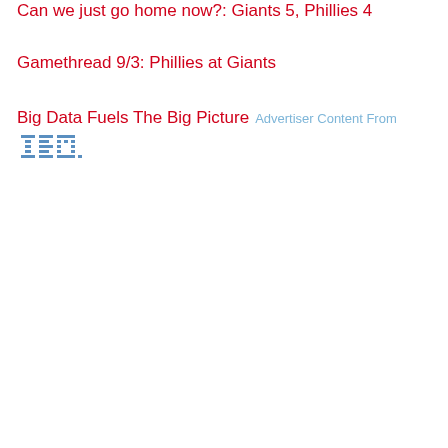Can we just go home now?: Giants 5, Phillies 4
Gamethread 9/3: Phillies at Giants
Big Data Fuels The Big Picture  Advertiser Content From IBM